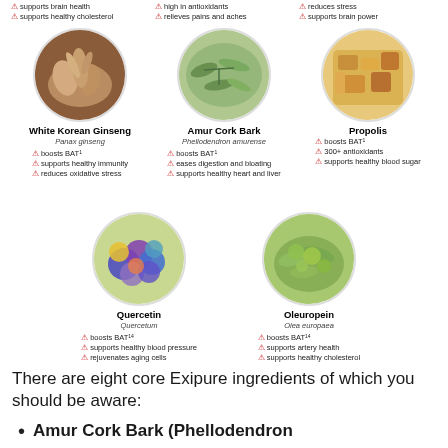[Figure (infographic): Three circular ingredient photos in top row: White Korean Ginseng (Panax ginseng), Amur Cork Bark (Phellodendron amurense), Propolis. Each with bullet benefits listed below.]
supports brain health
supports healthy cholesterol
high in antioxidants
relieves pains and aches
reduces stress
supports brain power
[Figure (infographic): Two circular ingredient photos in middle row: Quercetin (Quercetum) and Oleuropein (Olea europaea). Each with bullet benefits listed below.]
boosts BAT
supports healthy blood pressure
rejuvenates aging cells
boosts BAT
supports artery health
supports healthy cholesterol
There are eight core Exipure ingredients of which you should be aware:
Amur Cork Bark (Phellodendron